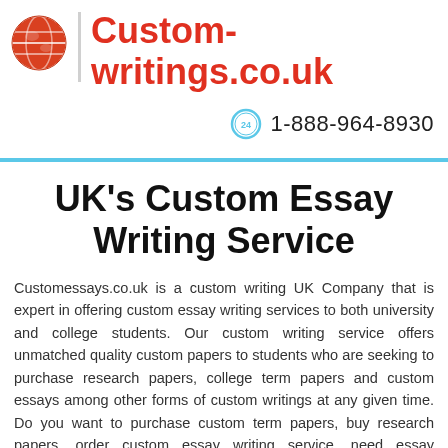[Figure (logo): Globe icon with red/orange fill and white continents]
Custom-writings.co.uk
1-888-964-8930
UK's Custom Essay Writing Service
Customessays.co.uk is a custom writing UK Company that is expert in offering custom essay writing services to both university and college students. Our custom writing service offers unmatched quality custom papers to students who are seeking to purchase research papers, college term papers and custom essays among other forms of custom writings at any given time. Do you want to purchase custom term papers, buy research papers, order custom essay writing service, need essay assistance or any other kinds of essay you want? Visit today to learn more offers. To be able to...